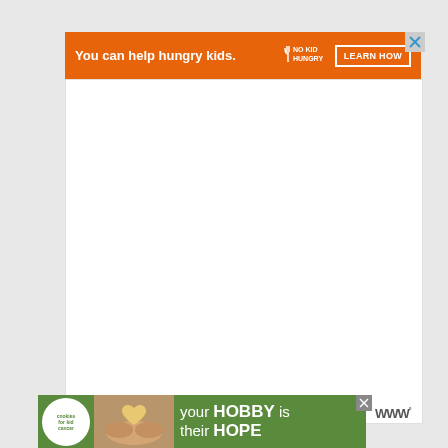[Figure (infographic): Orange banner advertisement: 'You can help hungry kids.' with No Kid Hungry logo and 'LEARN HOW' button. Close X button in top right corner.]
[Figure (infographic): White/light gray blank content area below the top advertisement banner.]
[Figure (infographic): Bottom advertisement banner with green background showing 'cookies for kid cancer' logo, hands holding a heart-shaped cookie photo, and text 'your HOBBY is their HOPE'. Close X button and 'W°' logo visible.]